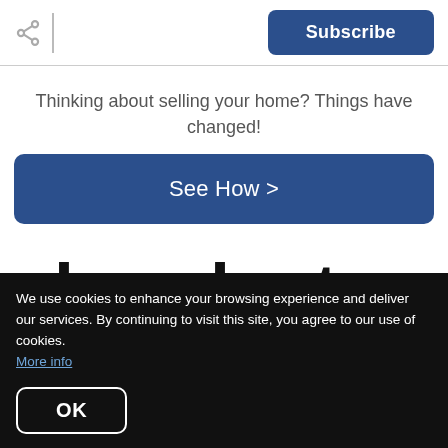Share | Subscribe
Thinking about selling your home? Things have changed!
[Figure (other): Blue 'See How >' button]
abundant.
We use cookies to enhance your browsing experience and deliver our services. By continuing to visit this site, you agree to our use of cookies. More info
OK